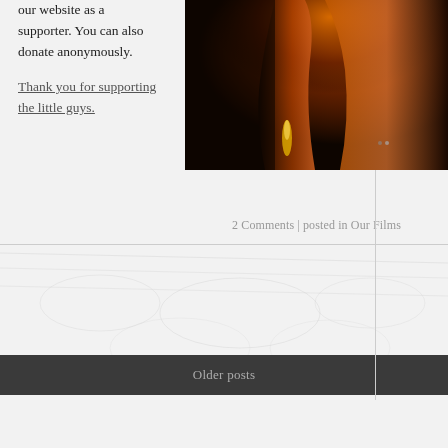our website as a supporter. You can also donate anonymously.
Thank you for supporting the little guys.
[Figure (photo): Dark dramatic photograph showing orange and amber stage curtains or fabric illuminated by warm stage lighting, with deep shadows in the background.]
2 Comments | posted in Our Films
[Figure (photo): Faint watermark or background image, light grey tones, appears to be a decorative or repeated pattern.]
Older posts